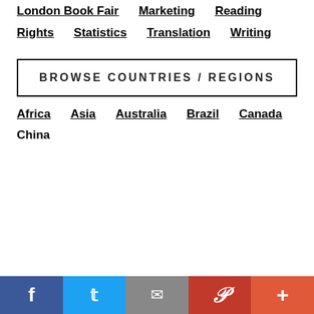London Book Fair
Marketing
Reading
Rights
Statistics
Translation
Writing
BROWSE COUNTRIES / REGIONS
Africa
Asia
Australia
Brazil
Canada
China